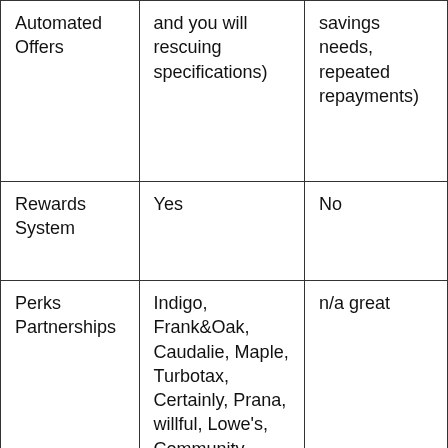| Automated Offers | and you will rescuing specifications) | savings needs, repeated repayments) |
| Rewards System | Yes | No |
| Perks Partnerships | Indigo, Frank&Oak, Caudalie, Maple, Turbotax, Certainly, Prana, willful, Lowe's, Community | n/a great |